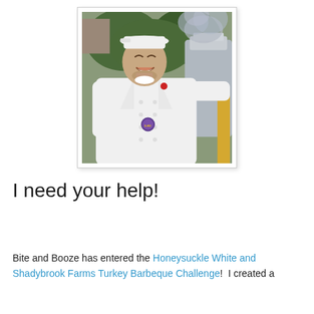[Figure (photo): A man in a white chef's coat with an LSU badge and a backwards white cap, smiling, standing next to a large metal smoker/cooker with smoke rising from it. Green trees visible in the background.]
I need your help!
Bite and Booze has entered the Honeysuckle White and Shadybrook Farms Turkey Barbeque Challenge!  I created a